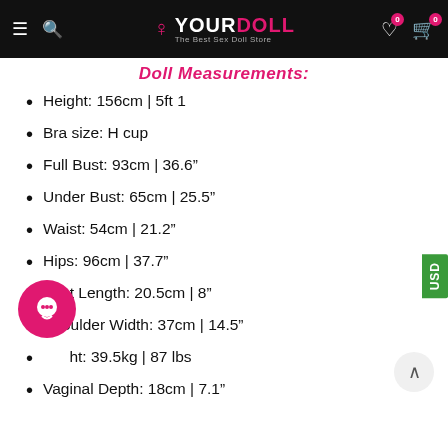YOURDOLL - The Best Sex Doll Store
Doll Measurements:
Height: 156cm | 5ft 1
Bra size: H cup
Full Bust: 93cm | 36.6"
Under Bust: 65cm | 25.5"
Waist: 54cm | 21.2"
Hips: 96cm | 37.7"
Foot Length: 20.5cm | 8"
Shoulder Width: 37cm | 14.5"
Weight: 39.5kg | 87 lbs
Vaginal Depth: 18cm | 7.1"